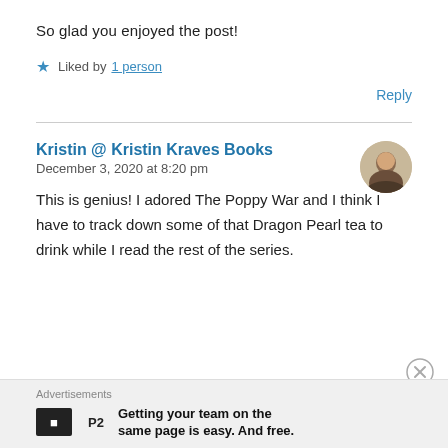So glad you enjoyed the post!
★ Liked by 1 person
Reply
Kristin @ Kristin Kraves Books
December 3, 2020 at 8:20 pm
This is genius! I adored The Poppy War and I think I have to track down some of that Dragon Pearl tea to drink while I read the rest of the series.
Advertisements
Getting your team on the same page is easy. And free.